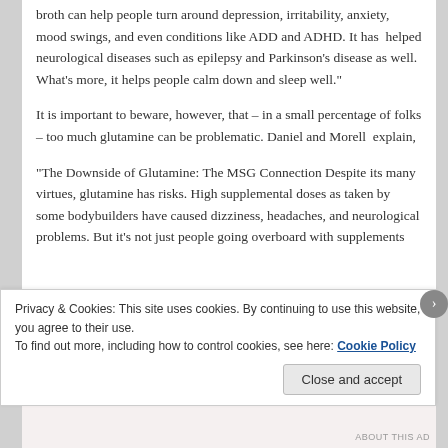broth can help people turn around depression, irritability, anxiety, mood swings, and even conditions like ADD and ADHD. It has  helped neurological diseases such as epilepsy and Parkinson's disease as well. What's more, it helps people calm down and sleep well."
It is important to beware, however, that – in a small percentage of folks – too much glutamine can be problematic. Daniel and Morell  explain,
“The Downside of Glutamine: The MSG Connection Despite its many virtues, glutamine has risks. High supplemental doses as taken by some bodybuilders have caused dizziness, headaches, and neurological problems. But it's not just people going overboard with supplements
Privacy & Cookies: This site uses cookies. By continuing to use this website, you agree to their use.
To find out more, including how to control cookies, see here: Cookie Policy
Close and accept